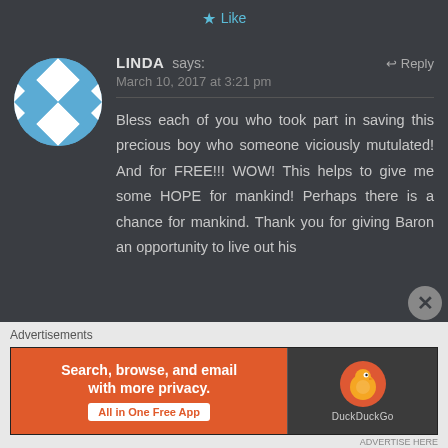Like
[Figure (illustration): Blue and white geometric diamond-pattern circular avatar for user LINDA]
LINDA says:
Reply
March 10, 2017 at 3:21 pm
Bless each of you who took part in saving this precious boy who someone viciously mutulated! And for FREE!!! WOW! This helps to give me some HOPE for mankind! Perhaps there is a chance for mankind. Thank you for giving Baron an opportunity to live out his
Advertisements
[Figure (screenshot): DuckDuckGo advertisement banner: orange left side reading 'Search, browse, and email with more privacy. All in One Free App', dark right side with DuckDuckGo logo and name]